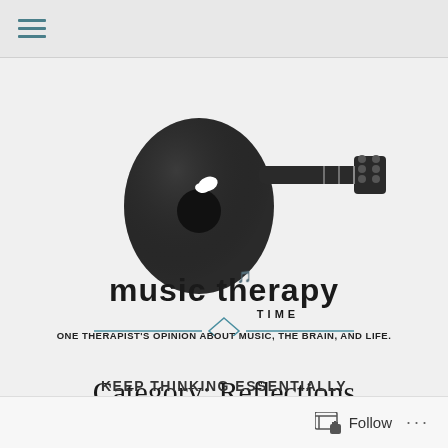≡ (navigation menu icon)
[Figure (logo): Music Therapy Time logo featuring an acoustic guitar silhouette in dark grey/black with a small leaf/bird icon, text 'music therapy' in lowercase with 'TIME' underneath, and a decorative diamond divider line in teal/blue]
ONE THERAPIST'S OPINION ABOUT MUSIC, THE BRAIN, AND LIFE.
Category: Reflections
KEEP THINKING ESSENTIALLY
Follow ...